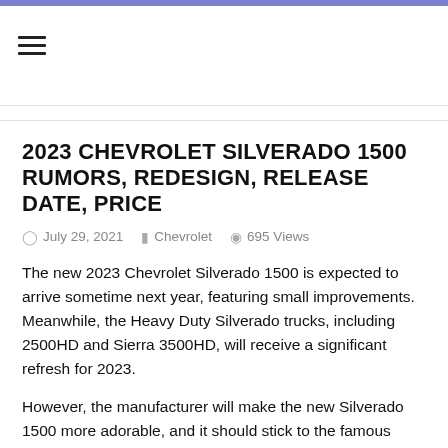hamburger menu icon
2023 CHEVROLET SILVERADO 1500 RUMORS, REDESIGN, RELEASE DATE, PRICE
July 29, 2021   Chevrolet   695 Views
The new 2023 Chevrolet Silverado 1500 is expected to arrive sometime next year, featuring small improvements. Meanwhile, the Heavy Duty Silverado trucks, including 2500HD and Sierra 3500HD, will receive a significant refresh for 2023.
However, the manufacturer will make the new Silverado 1500 more adorable, and it should stick to the famous design language. From what we heard, the upcoming